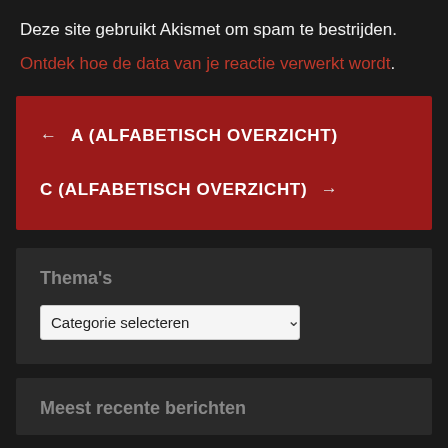Deze site gebruikt Akismet om spam te bestrijden.
Ontdek hoe de data van je reactie verwerkt wordt.
← A (ALFABETISCH OVERZICHT)
C (ALFABETISCH OVERZICHT) →
Thema's
Categorie selecteren
Meest recente berichten